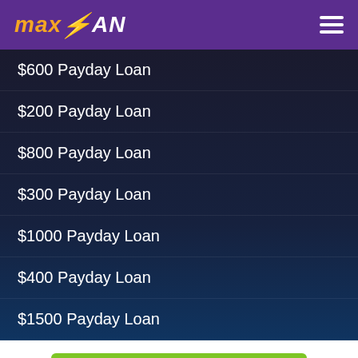maxLOAN
$600 Payday Loan
$200 Payday Loan
$800 Payday Loan
$300 Payday Loan
$1000 Payday Loan
$400 Payday Loan
$1500 Payday Loan
Apply Now
Applying does NOT affect your credit score! No credit check to apply.